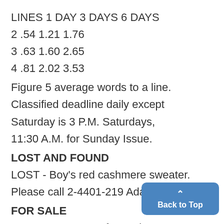| LINES | 1 DAY | 3 DAYS | 6 DAYS |
| --- | --- | --- | --- |
| 2 | .54 | 1.21 | 1.76 |
| 3 | .63 | 1.60 | 2.65 |
| 4 | .81 | 2.02 | 3.53 |
Figure 5 average words to a line. Classified deadline daily except Saturday is 3 P.M. Saturdays, 11:30 A.M. for Sunday Issue.
LOST AND FOUND
LOST - Boy's red cashmere sweater. Please call 2-4401-219 Adams. )50L
FOR SALE
HEADQUARTERS for Levis - San Store, 122 E. Washington St. Op